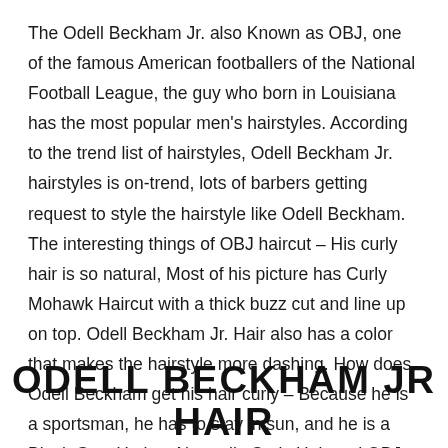The Odell Beckham Jr. also Known as OBJ, one of the famous American footballers of the National Football League, the guy who born in Louisiana has the most popular men's hairstyles. According to the trend list of hairstyles, Odell Beckham Jr. hairstyles is on-trend, lots of barbers getting request to style the hairstyle like Odell Beckham. The interesting things of OBJ haircut – His curly hair is so natural, Most of his picture has Curly Mohawk Haircut with a thick buzz cut and line up on top. Odell Beckham Jr. Hair also has a color that makes the hairstyle more dashing. How does Odell Beckham get his hair curly – Because he is a sportsman, he has to stay in sun, and he is a Black Guy. He has Naturally Curly Hair and OBJ Hair looks cool with Braid. If you want to style your curly hair and long hair like this, check out this 15 Pictures list of Odell Beckham Jr. Haircut.
ODELL BECKHAM JR HAIR